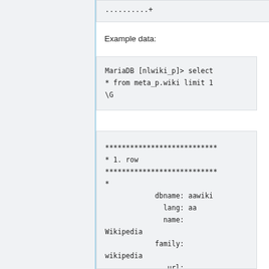..........+
Example data:
MariaDB [nlwiki_p]> select * from meta_p.wiki limit 1 \G
*************************** * 1. row ***************************
*
            dbname: aawiki
              lang: aa
              name: Wikipedia
            family: wikipedia
               url: http://aa.wikipedia.org
              size: 1